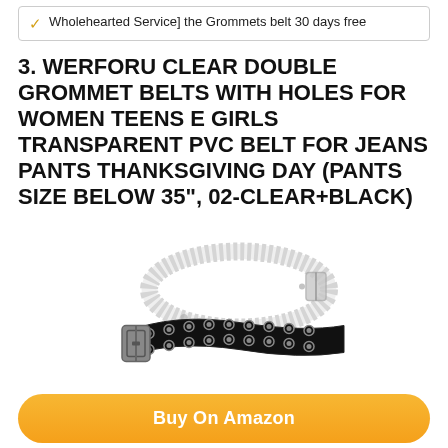✓ Wholehearted Service] the Grommets belt 30 days free
3. WERFORU CLEAR DOUBLE GROMMET BELTS WITH HOLES FOR WOMEN TEENS E GIRLS TRANSPARENT PVC BELT FOR JEANS PANTS THANKSGIVING DAY (PANTS SIZE BELOW 35", 02-CLEAR+BLACK)
[Figure (photo): Two grommet belts — one transparent/clear PVC belt coiled on top, and one black double-grommet belt with silver buckle below it.]
Buy On Amazon
Features: